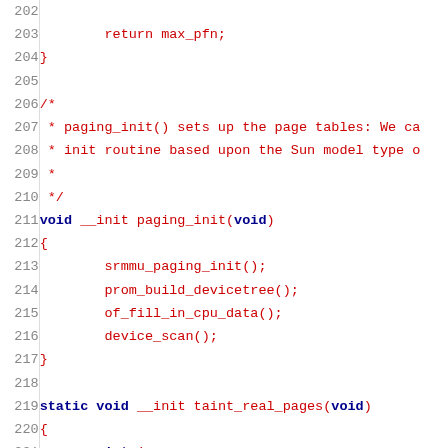Source code listing lines 202-222 showing C code with paging_init and taint_real_pages functions